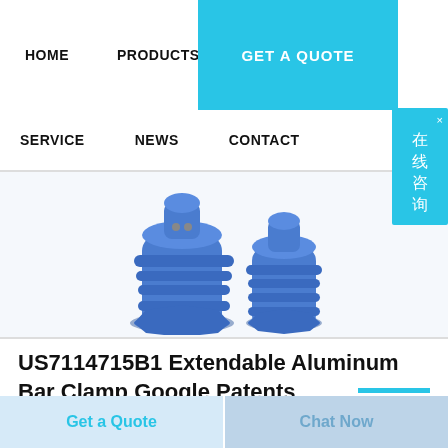HOME   PRODUCTS   ABOUT   GET A QUOTE   SERVICE   NEWS   CONTACT
[Figure (photo): Two blue cylindrical aluminum bar clamp components shown side by side on white background]
US7114715B1 Extendable Aluminum Bar Clamp Google Patents
Get a Quote   Chat Now